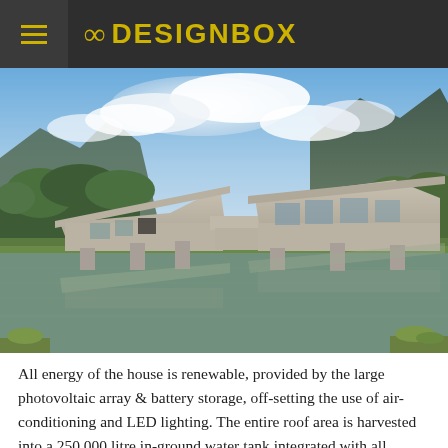8 DESIGNBOX
[Figure (photo): Modern concrete house with cantilevered sections reflected in a still pond, with mountains and cloudy sky in background, surrounded by tropical greenery.]
All energy of the house is renewable, provided by the large photovoltaic array & battery storage, off-setting the use of air-conditioning and LED lighting. The entire roof area is harvested into a 250,000 litre in-ground water tank integrated with all hydraulic